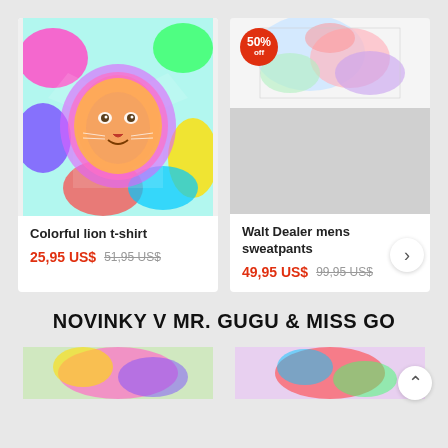[Figure (photo): Colorful lion t-shirt product image with vivid multicolor print]
Colorful lion t-shirt
25,95 US$   51,95 US$
[Figure (photo): Walt Dealer mens sweatpants product image with colorful splatter print, 50% off badge]
Walt Dealer mens sweatpants
49,95 US$   99,95 US$
NOVINKY V MR. GUGU & MISS GO
[Figure (photo): Bottom product thumbnails partially visible]